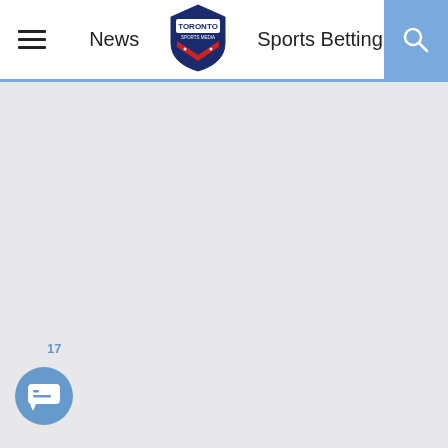News | Toronto Sports Media | Sports Betting
[Figure (logo): Toronto Sports Media shield logo with red maple leaf and navy blue background]
17
[Figure (other): Blue circular chat/message button with speech bubble icon]